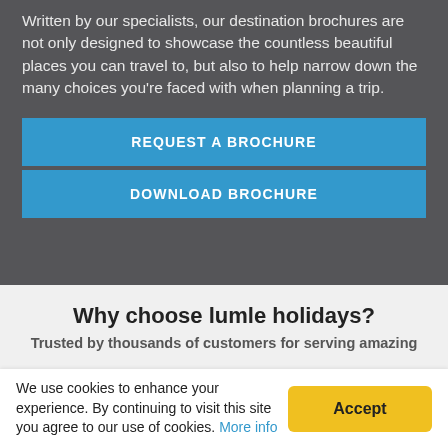Written by our specialists, our destination brochures are not only designed to showcase the countless beautiful places you can travel to, but also to help narrow down the many choices you're faced with when planning a trip.
REQUEST A BROCHURE
DOWNLOAD BROCHURE
Why choose lumle holidays?
Trusted by thousands of customers for serving amazing
We use cookies to enhance your experience. By continuing to visit this site you agree to our use of cookies. More info